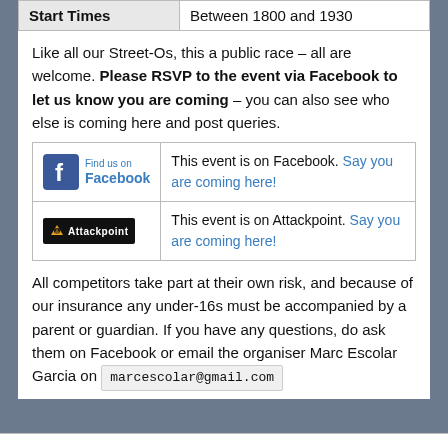| Start Times |  |
| --- | --- |
| Start Times | Between 1800 and 1930 |
Like all our Street-Os, this a public race – all are welcome. Please RSVP to the event via Facebook to let us know you are coming – you can also see who else is coming here and post queries.
| [Facebook logo] | This event is on Facebook. Say you are coming here! |
| [Attackpoint logo] | This event is on Attackpoint. Say you are coming here! |
All competitors take part at their own risk, and because of our insurance any under-16s must be accompanied by a parent or guardian. If you have any questions, do ask them on Facebook or email the organiser Marc Escolar Garcia on marcescolar@gmail.com